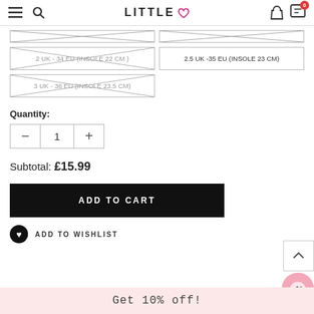LITTLE V
[Figure (screenshot): Partially visible size selector buttons at top (cropped)]
2 UK - 34 EU (INSOLE 22 CM) — crossed out (unavailable)
2.5 UK -35 EU (INSOLE 23 CM) — available
3 UK - 36 EU (INSOLE 23.5 CM) — crossed out (unavailable)
Quantity:
1
Subtotal: £15.99
ADD TO CART
ADD TO WISHLIST
Get 10% off!